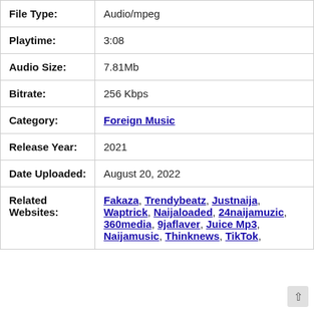| Field | Value |
| --- | --- |
| File Type: | Audio/mpeg |
| Playtime: | 3:08 |
| Audio Size: | 7.81Mb |
| Bitrate: | 256 Kbps |
| Category: | Foreign Music |
| Release Year: | 2021 |
| Date Uploaded: | August 20, 2022 |
| Related Websites: | Fakaza, Trendybeatz, Justnaija, Waptrick, Naijaloaded, 24naijamuzic, 360media, 9jaflaver, Juice Mp3, Naijamusic, Thinknews, TikTok, |